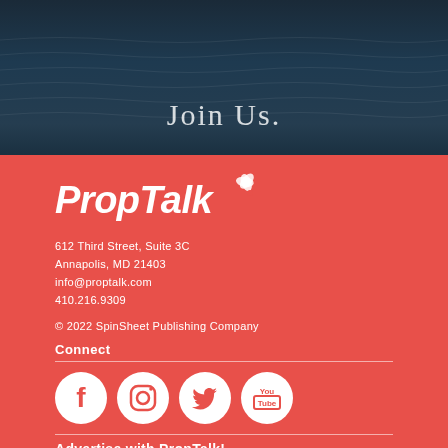[Figure (photo): Dark ocean water background image with 'Join Us.' text overlay in light serif font]
[Figure (logo): PropTalk logo in white italic bold text with propeller icon on red background]
612 Third Street, Suite 3C
Annapolis, MD 21403
info@proptalk.com
410.216.9309
© 2022 SpinSheet Publishing Company
Connect
[Figure (infographic): Four social media icons in white circles: Facebook, Instagram, Twitter, YouTube on red background]
Advertise with PropTalk!